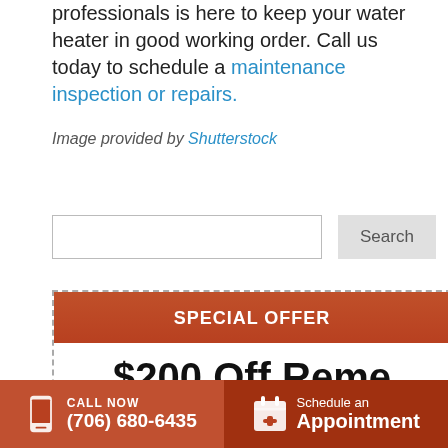professionals is here to keep your water heater in good working order. Call us today to schedule a maintenance inspection or repairs.
Image provided by Shutterstock
[Figure (screenshot): Search bar with text input field and Search button]
[Figure (infographic): Coupon box with dashed border. Orange-red header 'SPECIAL OFFER'. Body text '$200 Off Reme Halo']
[Figure (infographic): Chat with Us button, orange rounded pill with chat icon]
CALL NOW (706) 680-6435 | Schedule an Appointment